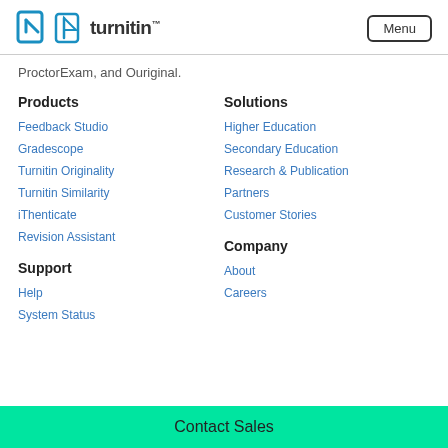turnitin | Menu
ProctorExam, and Ouriginal.
Products
Feedback Studio
Gradescope
Turnitin Originality
Turnitin Similarity
iThenticate
Revision Assistant
Solutions
Higher Education
Secondary Education
Research & Publication
Partners
Customer Stories
Support
Help
System Status
Company
About
Careers
Contact Sales